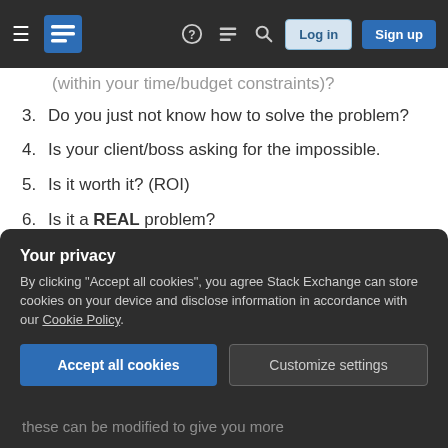Stack Exchange navigation bar with Log in and Sign up buttons
(within your time/budget constraints)?
3. Do you just not know how to solve the problem?
4. Is your client/boss asking for the impossible.
5. Is it worth it? (ROI)
6. Is it a REAL problem?
1) First of all, make sure you understand the problem. There are no stupid questions. Do you understand what your client/boss is asking you
Your privacy
By clicking "Accept all cookies", you agree Stack Exchange can store cookies on your device and disclose information in accordance with our Cookie Policy.
Accept all cookies   Customize settings
these can be modified to give you more